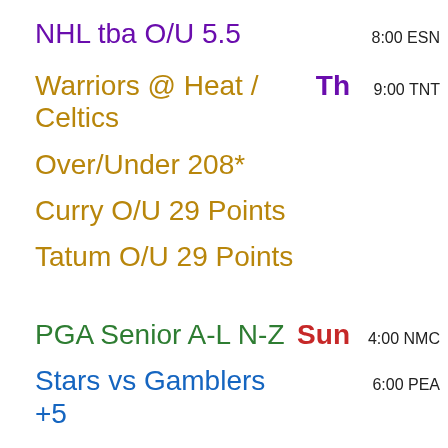NHL tba O/U 5.5   8:00 ESN
Warriors @ Heat / Celtics   Th   9:00 TNT
Over/Under 208*
Curry O/U 29 Points
Tatum O/U 29 Points
PGA Senior A-L N-Z   Sun   4:00 NMC
Stars vs Gamblers +5   6:00 PEA
Minn @ Tigers O/U 8.5   Tue   1:10 BSD
Minn @ Tigers O/U 8.5   Wed   7:10 BSD
Minn @ Tigers O/U 8.5   Th